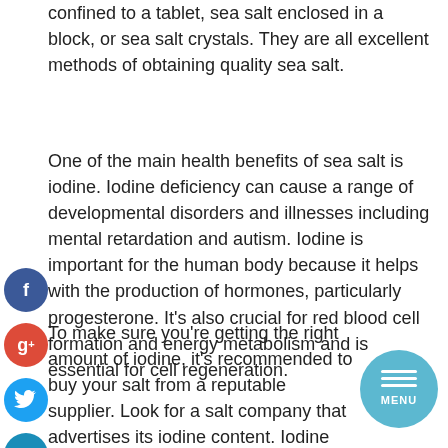confined to a tablet, sea salt enclosed in a block, or sea salt crystals. They are all excellent methods of obtaining quality sea salt.
One of the main health benefits of sea salt is iodine. Iodine deficiency can cause a range of developmental disorders and illnesses including mental retardation and autism. Iodine is important for the human body because it helps with the production of hormones, particularly progesterone. It's also crucial for red blood cell formation and energy metabolism and is essential for cell regeneration.
To make sure you're getting the right amount of iodine, it's recommended to buy your salt from a reputable supplier. Look for a salt company that advertises its iodine content. Iodine content can vary considerably depending on where the salt came from so it pays to be informed.